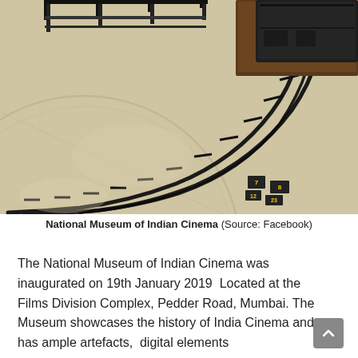[Figure (photo): A photograph of the interior of the National Museum of Indian Cinema, showing a curved miniature railway track on a light-colored concrete floor, with a dark box/machine on a platform at the upper right, and track infrastructure visible.]
National Museum of Indian Cinema (Source: Facebook)
The National Museum of Indian Cinema was inaugurated on 19th January 2019  Located at the  Films Division Complex, Pedder Road, Mumbai. The Museum showcases the history of India Cinema and has ample artefacts,  digital elements